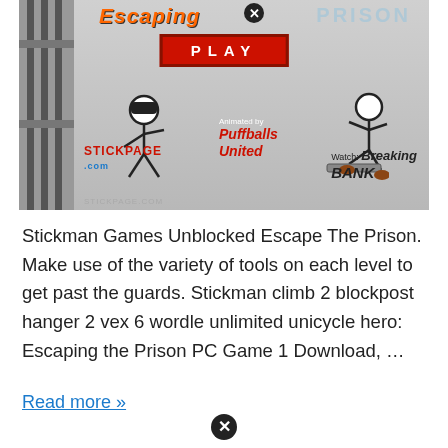[Figure (screenshot): Screenshot of a stickman prison escape game titled 'Escaping the Prison' from Stickpage.com. Shows two stickman characters — one in ninja attire on the left and one sitting on a bench on the right — inside a prison cell. A red PLAY button is visible at the top center. Text reads 'Animated by Puffballs United', 'STICKPAGE.com', and 'Watch: Breaking the Bank'.]
Stickman Games Unblocked Escape The Prison. Make use of the variety of tools on each level to get past the guards. Stickman climb 2 blockpost hanger 2 vex 6 wordle unlimited unicycle hero: Escaping the Prison PC Game 1 Download, …
Read more »